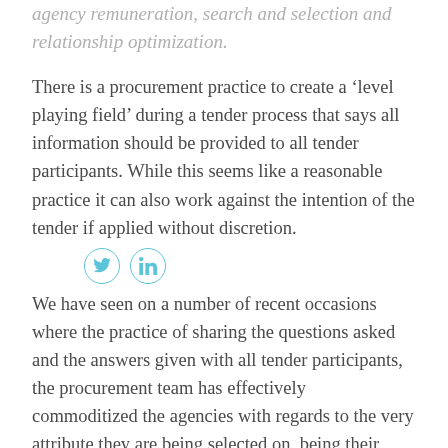agency remuneration, search and selection and relationship optimization.
There is a procurement practice to create a ‘level playing field’ during a tender process that says all information should be provided to all tender participants. While this seems like a reasonable practice it can also work against the intention of the tender if applied without discretion.
[Figure (other): Twitter and LinkedIn social media share icons]
We have seen on a number of recent occasions where the practice of sharing the questions asked and the answers given with all tender participants, the procurement team has effectively commoditized the agencies with regards to the very attribute they are being selected on, being their strategic thinking